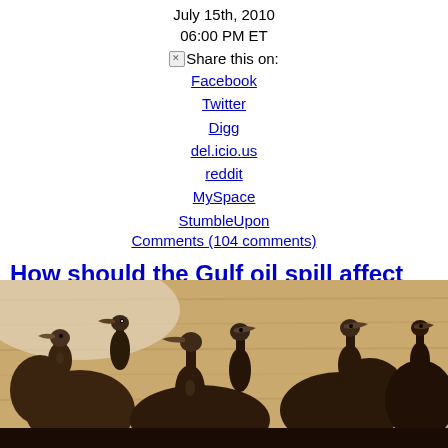July 15th, 2010
06:00 PM ET
Share this on:
Facebook
Twitter
Digg
del.icio.us
reddit
MySpace
StumbleUpon
Comments (104 comments)
How should the Gulf oil spill affect this country's energy policy going forward?
[Figure (photo): Oil-covered pelicans crowded together in a wooden enclosure, photographed during the Gulf oil spill cleanup effort]